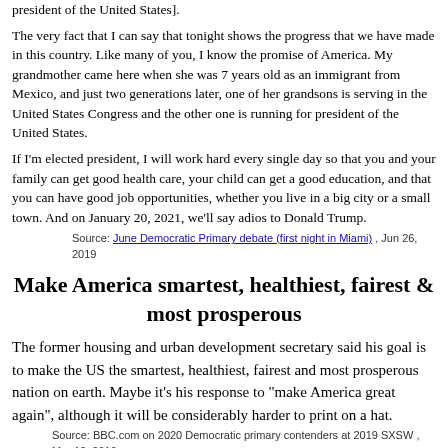president of the United States].
The very fact that I can say that tonight shows the progress that we have made in this country. Like many of you, I know the promise of America. My grandmother came here when she was 7 years old as an immigrant from Mexico, and just two generations later, one of her grandsons is serving in the United States Congress and the other one is running for president of the United States.
If I'm elected president, I will work hard every single day so that you and your family can get good health care, your child can get a good education, and that you can have good job opportunities, whether you live in a big city or a small town. And on January 20, 2021, we'll say adios to Donald Trump.
Source: June Democratic Primary debate (first night in Miami) , Jun 26, 2019
Make America smartest, healthiest, fairest & most prosperous
The former housing and urban development secretary said his goal is to make the US the smartest, healthiest, fairest and most prosperous nation on earth. Maybe it's his response to "make America great again", although it will be considerably harder to print on a hat.
Source: BBC.com on 2020 Democratic primary contenders at 2019 SXSW , Mar 12, 2019
Jo & Ju
1977: As kids, engaged in San Antonio city politics In 1977, San Antonio let voters decide if the city should change from an at-large